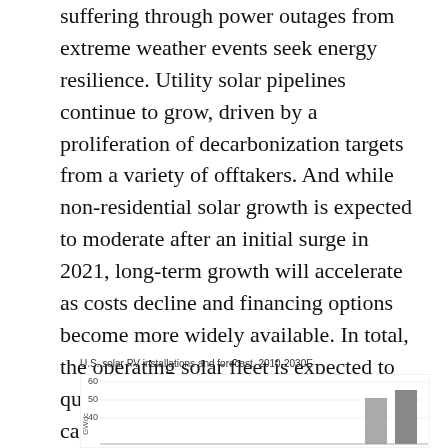suffering through power outages from extreme weather events seek energy resilience. Utility solar pipelines continue to grow, driven by a proliferation of decarbonization targets from a variety of offtakers. And while non-residential solar growth is expected to moderate after an initial surge in 2021, long-term growth will accelerate as costs decline and financing options become more widely available. In total, the operating solar fleet is expected to quadruple from nearly 100 GWdc of capacity installed today to more than 400 GWdc installed by 2030.
U.S. solar PV installations and forecast, 2010-2030E
[Figure (bar-chart): U.S. solar PV installations and forecast, 2010-2030E]